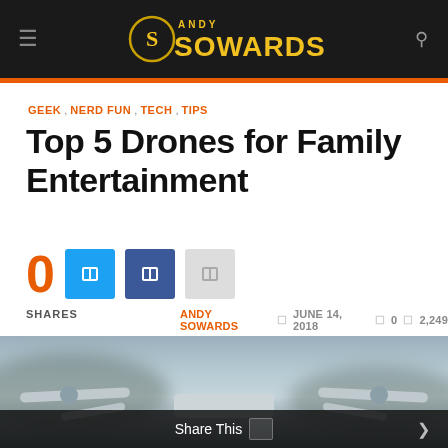Andy Sowards
GEEK, NERD FUN, TECH, TIPS
Top 5 Drones for Family Entertainment
0 SHARES   ANDY SOWARDS   JUNE 14, 2018   0   2,249
[Figure (photo): Close-up photo of a white drone with propellers against a grey sky, with blurred landscape below]
Share This